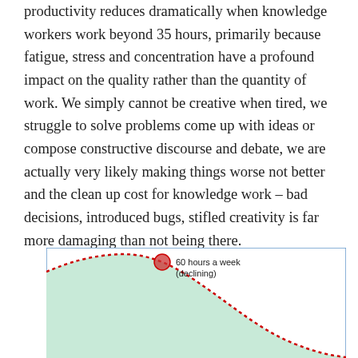productivity reduces dramatically when knowledge workers work beyond 35 hours, primarily because fatigue, stress and concentration have a profound impact on the quality rather than the quantity of work. We simply cannot be creative when tired, we struggle to solve problems come up with ideas or compose constructive discourse and debate, we are actually very likely making things worse not better and the clean up cost for knowledge work – bad decisions, introduced bugs, stifled creativity is far more damaging than not being there.
[Figure (continuous-plot): A curve chart showing productivity vs hours worked. A green shaded area under a dotted red curve that peaks and then declines. A red circle marker is placed on the declining portion of the curve labeled '60 hours a week (declining)'.]